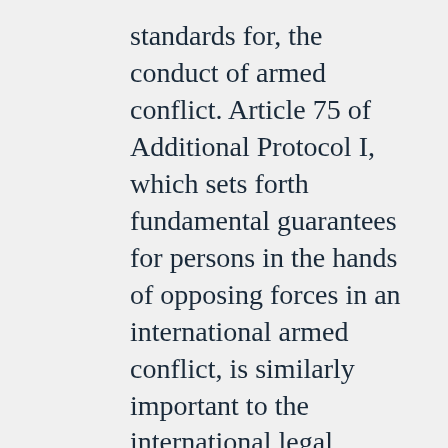standards for, the conduct of armed conflict. Article 75 of Additional Protocol I, which sets forth fundamental guarantees for persons in the hands of opposing forces in an international armed conflict, is similarly important to the international legal framework. Although the Administration continues to have significant concerns with Additional Protocol I, Article 75 is a provision of the treaty that is consistent with our current policies and practice and is one that the United States has historically supported. Our